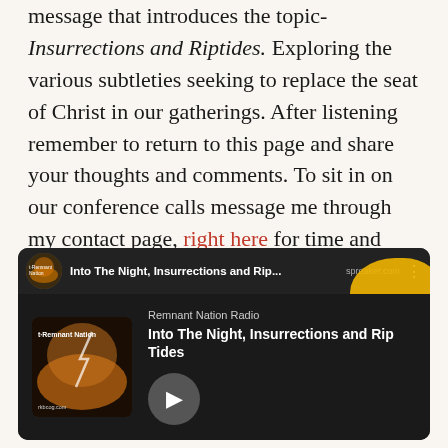message that introduces the topic- Insurrections and Riptides. Exploring the various subtleties seeking to replace the seat of Christ in our gatherings. After listening remember to return to this page and share your thoughts and comments. To sit in on our conference calls message me through my contact page, right here for time and details. – Deana Barnes
[Figure (screenshot): Embedded Spreaker audio player showing 'Into The Night, Insurrections and Rip Tides' by Remnant Nation Radio, with podcast artwork and a play button. Yellow decorative blob in top-right corner.]